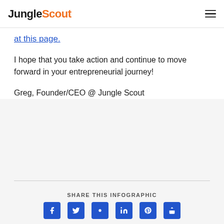JungleScout
at this page.
I hope that you take action and continue to move forward in your entrepreneurial journey!
Greg, Founder/CEO @ Jungle Scout
SHARE THIS INFOGRAPHIC